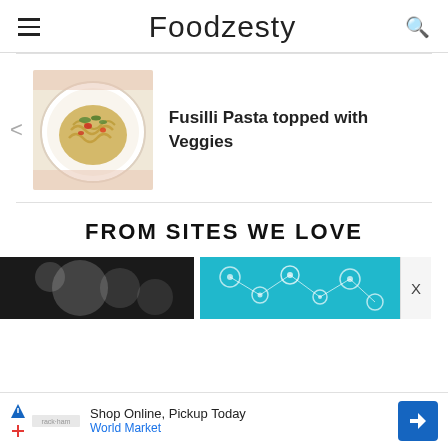Foodzesty
[Figure (photo): Bowl of fusilli pasta topped with vegetables including tomatoes and herbs on a white plate]
Fusilli Pasta topped with Veggies
FROM SITES WE LOVE
[Figure (photo): Dark background with round white objects, partially visible thumbnail]
[Figure (photo): Teal/aqua colored background with circular bubbles or molecules]
Shop Online, Pickup Today World Market